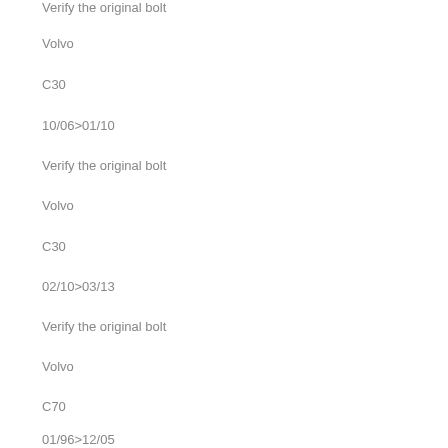Verify the original bolt
Volvo
C30
10/06>01/10
Verify the original bolt
Volvo
C30
02/10>03/13
Verify the original bolt
Volvo
C70
01/96>12/05